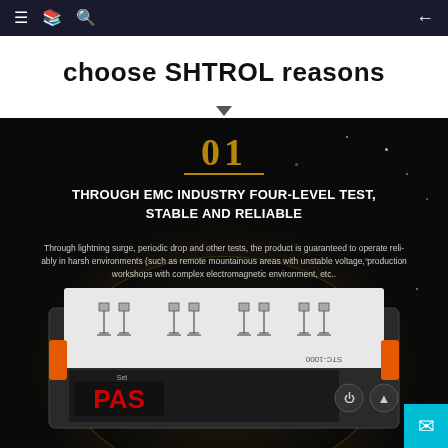Navigation bar with menu, bookmark, search, and back icons
choose SHTROL reasons
[Figure (photo): Product promotional image on black background showing: large gold '01' heading with underline, bold white text 'THROUGH EMC INDUSTRY FOUR-LEVEL TEST, STABLE AND RELIABLE', descriptive paragraph in gray text about lightning surge and periodic drop tests, glowing golden orb effect, and STC-1000 temperature controller device with orange mounting clips, wiring diagram on top, red LED display showing 'PAS', Set/Cool labels, and control buttons. A cyan mail button is in the bottom-right corner.]